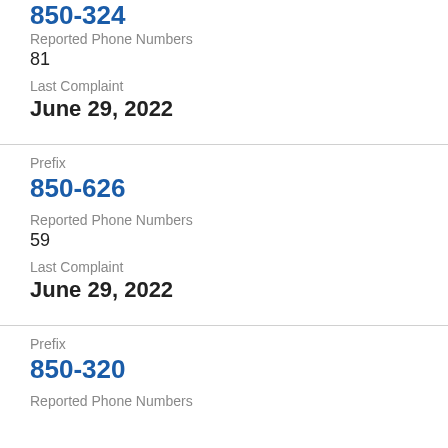850-624
Reported Phone Numbers
81
Last Complaint
June 29, 2022
Prefix
850-626
Reported Phone Numbers
59
Last Complaint
June 29, 2022
Prefix
850-320
Reported Phone Numbers